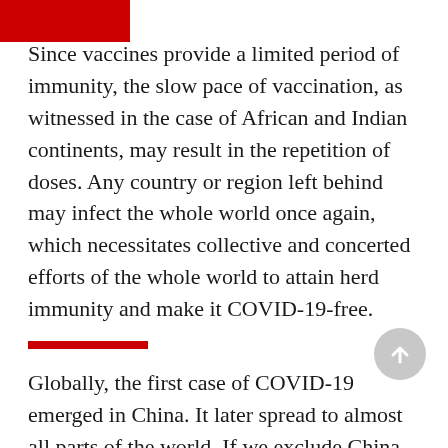Since vaccines provide a limited period of immunity, the slow pace of vaccination, as witnessed in the case of African and Indian continents, may result in the repetition of doses. Any country or region left behind may infect the whole world once again, which necessitates collective and concerted efforts of the whole world to attain herd immunity and make it COVID-19-free.
Globally, the first case of COVID-19 emerged in China. It later spread to almost all parts of the world. If we exclude China, which has been accused of withholding information on deaths, then United States (US), India, and Brazil are the most affected countries in the world. COVID-19 is